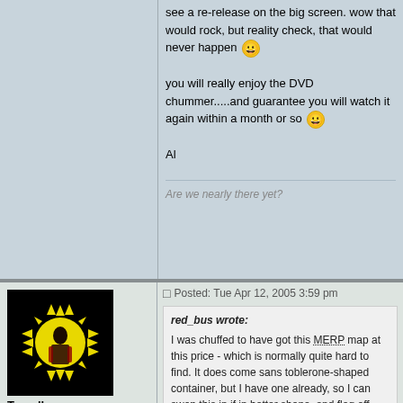see a re-release on the big screen. wow that would rock, but reality check, that would never happen :) you will really enjoy the DVD chummer.....and guarantee you will watch it again within a month or so :) Al
Are we nearly there yet?
Posted: Tue Apr 12, 2005 3:59 pm
[Figure (photo): User avatar showing a man in ornate robes in front of a yellow sun on black background]
Traveller
Prolific Collector

Posts: 851
Joined: Jun 12, 2004
red_bus wrote:
I was chuffed to have got this MERP map at this price - which is normally quite hard to find. It does come sans toblerone-shaped container, but I have one already, so I can swop this in if in better shape, and flog off spare (I really do need to get out more).